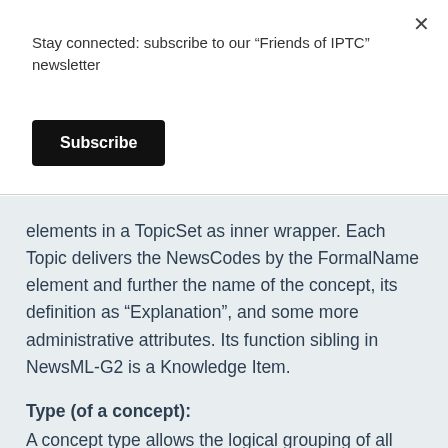Stay connected: subscribe to our “Friends of IPTC” newsletter
Subscribe
elements in a TopicSet as inner wrapper. Each Topic delivers the NewsCodes by the FormalName element and further the name of the concept, its definition as “Explanation”, and some more administrative attributes. Its function sibling in NewsML-G2 is a Knowledge Item.
Type (of a concept):
A concept type allows the logical grouping of all similar concept(s), regardless of the vocabulary the concepts belong to. Examples of concept type